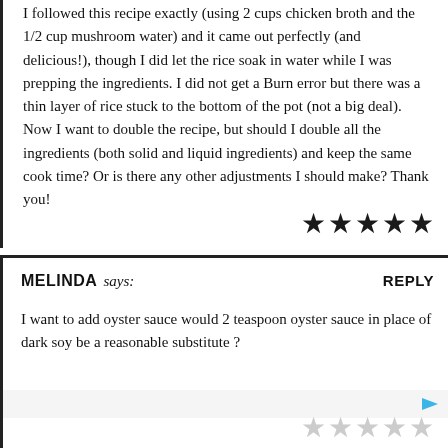I followed this recipe exactly (using 2 cups chicken broth and the 1/2 cup mushroom water) and it came out perfectly (and delicious!), though I did let the rice soak in water while I was prepping the ingredients. I did not get a Burn error but there was a thin layer of rice stuck to the bottom of the pot (not a big deal). Now I want to double the recipe, but should I double all the ingredients (both solid and liquid ingredients) and keep the same cook time? Or is there any other adjustments I should make? Thank you!
[Figure (other): Five filled black star rating icons]
MELINDA says:
REPLY
I want to add oyster sauce would 2 teaspoon oyster sauce in place of dark soy be a reasonable substitute ?
[Figure (other): Five empty/light gray star rating icons]